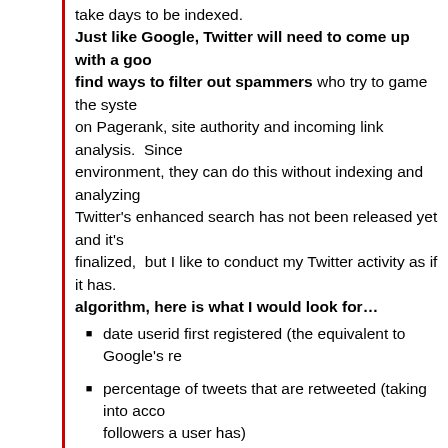take days to be indexed. Just like Google, Twitter will need to come up with a good find ways to filter out spammers who try to game the system on Pagerank, site authority and incoming link analysis. Since environment, they can do this without indexing and analyzing Twitter's enhanced search has not been released yet and it's finalized, but I like to conduct my Twitter activity as if it has. algorithm, here is what I would look for…
date userid first registered (the equivalent to Google's re
percentage of tweets that are retweeted (taking into account followers a user has)
number of tweets per day
percentage of tweets which are replies to other tweets (i conversations)
the reputation of the people you are following and the re retweet you
I'd also put in the following 'red flags' to specifically dem
threshold for the number of Twitter ids registered from sa